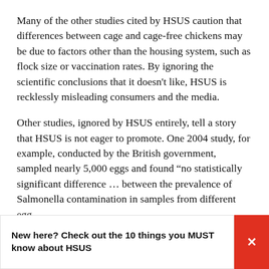Many of the other studies cited by HSUS caution that differences between cage and cage-free chickens may be due to factors other than the housing system, such as flock size or vaccination rates. By ignoring the scientific conclusions that it doesn't like, HSUS is recklessly misleading consumers and the media.
Other studies, ignored by HSUS entirely, tell a story that HSUS is not eager to promote. One 2004 study, for example, conducted by the British government, sampled nearly 5,000 eggs and found “no statistically significant difference ... between the prevalence of Salmonella contamination in samples from different egg
New here? Check out the 10 things you MUST know about HSUS